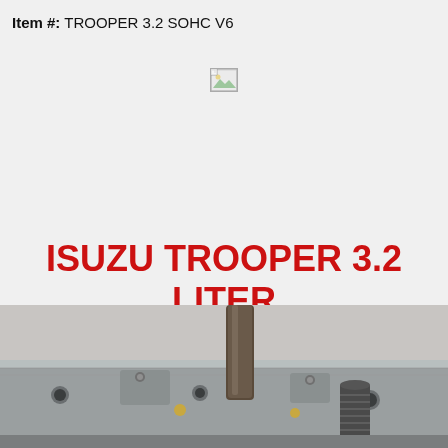Item #:  TROOPER 3.2 SOHC V6
[Figure (photo): Broken/missing image placeholder icon]
ISUZU TROOPER 3.2 LITER
[Figure (photo): Close-up photo of an Isuzu Trooper 3.2 liter SOHC V6 engine cylinder head showing valves, springs, and machined aluminum surfaces]